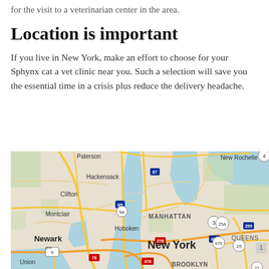for the visit to a veterinarian center in the area.
Location is important
If you live in New York, make an effort to choose for your Sphynx cat a vet clinic near you. Such a selection will save you the essential time in a crisis plus reduce the delivery headache.
[Figure (map): Google Maps view of the New York City metropolitan area showing Manhattan, Newark, Queens, Brooklyn, Hoboken, Montclair, Clifton, Hackensack, Paterson, New Rochelle, and Union with major highways and waterways.]